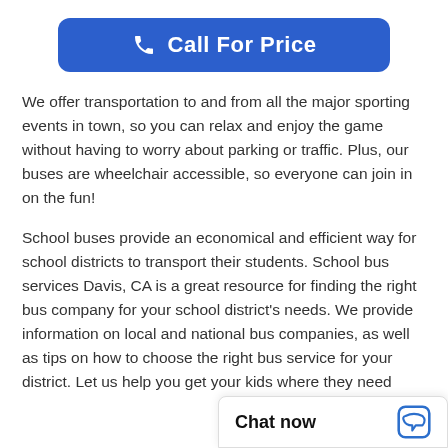[Figure (other): Blue rounded button with phone icon and text 'Call For Price']
We offer transportation to and from all the major sporting events in town, so you can relax and enjoy the game without having to worry about parking or traffic. Plus, our buses are wheelchair accessible, so everyone can join in on the fun!
School buses provide an economical and efficient way for school districts to transport their students. School bus services Davis, CA is a great resource for finding the right bus company for your school district's needs. We provide information on local and national bus companies, as well as tips on how to choose the right bus service for your district. Let us help you get your kids where they need
Chat now